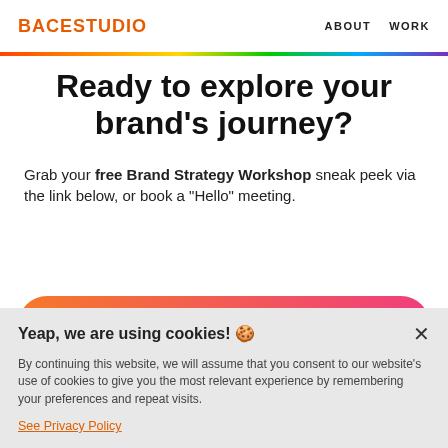BACESTUDIO   ABOUT   WORK
Ready to explore your brand's journey?
Grab your free Brand Strategy Workshop sneak peek via the link below, or book a "Hello" meeting.
[Figure (other): Orange-to-pink gradient pill button with text BOOK A TALK🡢]
[Figure (other): Orange outlined pill button (partially visible)]
Yeap, we are using cookies! 🍪
By continuing this website, we will assume that you consent to our website's use of cookies to give you the most relevant experience by remembering your preferences and repeat visits.
See Privacy Policy